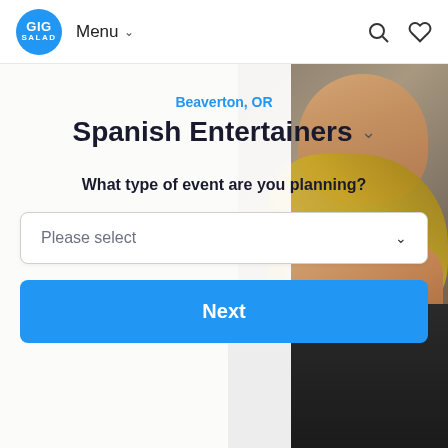GIG SALAD | Menu | [search icon] [heart icon]
[Figure (photo): Background photo of a young man playing a brass instrument (trumpet), wearing a dark uniform, visible on the right side of the page]
Beaverton, OR
Spanish Entertainers
What type of event are you planning?
Please select
Next